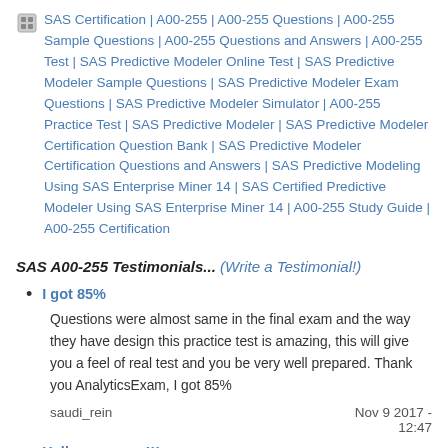SAS Certification | A00-255 | A00-255 Questions | A00-255 Sample Questions | A00-255 Questions and Answers | A00-255 Test | SAS Predictive Modeler Online Test | SAS Predictive Modeler Sample Questions | SAS Predictive Modeler Exam Questions | SAS Predictive Modeler Simulator | A00-255 Practice Test | SAS Predictive Modeler | SAS Predictive Modeler Certification Question Bank | SAS Predictive Modeler Certification Questions and Answers | SAS Predictive Modeling Using SAS Enterprise Miner 14 | SAS Certified Predictive Modeler Using SAS Enterprise Miner 14 | A00-255 Study Guide | A00-255 Certification
SAS A00-255 Testimonials... (Write a Testimonial!)
I got 85%
Questions were almost same in the final exam and the way they have design this practice test is amazing, this will give you a feel of real test and you be very well prepared. Thank you AnalyticsExam, I got 85%
saudi_rein
Nov 9 2017 - 12:47
Hello everyone!!!